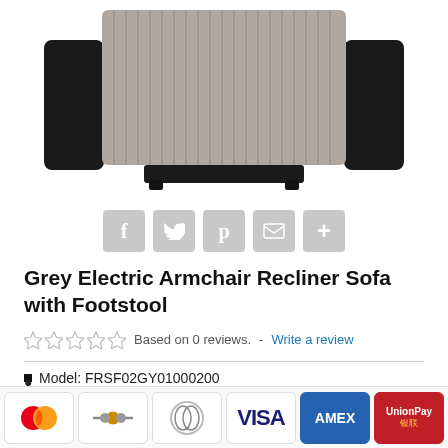[Figure (photo): Top-down / overhead view of a grey electric armchair recliner sofa with corduroy-textured grey seat cushion and dark black frame, footstool extended, on white background.]
[Figure (infographic): Row of five social sharing buttons: Facebook (f), Twitter (bird), Pinterest (p), Email (envelope), and a plus (+) button, all in grey rounded squares.]
Grey Electric Armchair Recliner Sofa with Footstool
Based on 0 reviews.  -  Write a review
Model: FRSF02GY01000200
SKU: FRSF02GY01000200
[Figure (infographic): Payment method icons: Mastercard, Maestro/bank transfer, Diners Club, VISA, AMEX, UnionPay]